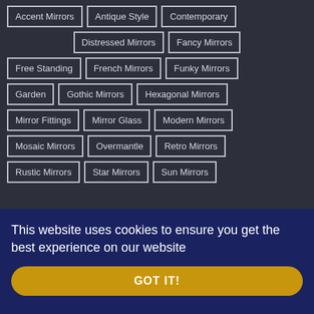Accent Mirrors
Antique Style
Contemporary
Distressed Mirrors
Fancy Mirrors
Free Standing
French Mirrors
Funky Mirrors
Garden
Gothic Mirrors
Hexagonal Mirrors
Mirror Fittings
Mirror Glass
Modern Mirrors
Mosaic Mirrors
Overmantle
Retro Mirrors
Rustic Mirrors
Star Mirrors
Sun Mirrors
This website uses cookies to ensure you get the best experience on our website
GOT IT!